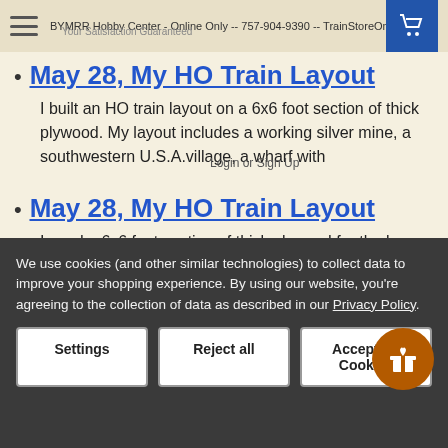BYMRR Hobby Center - Online Only -- 757-904-9390 -- TrainStoreOnli...
May 28, My HO Train Layout
I built an HO train layout on a 6x6 foot section of thick plywood. My layout includes a working silver mine, a southwestern U.S.A.village, a wharf with
May 28, My HO Train Layout
I used a 6x6 foot section of thick plywood for the base supported by two sawhorses. I bought a cheapo Bachmann train set and an oval track layout. The
We use cookies (and other similar technologies) to collect data to improve your shopping experience. By using our website, you're agreeing to the collection of data as described in our Privacy Policy.